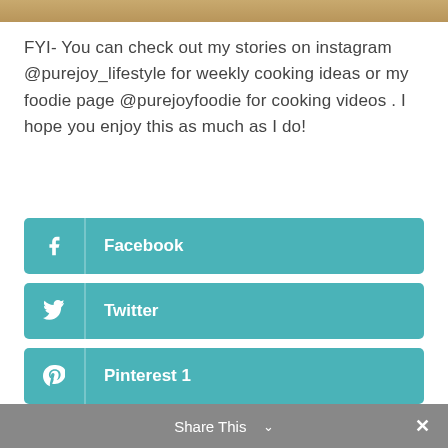[Figure (photo): Top partial image showing a wooden surface or food item in warm brown tones.]
FYI- You can check out my stories on instagram @purejoy_lifestyle for weekly cooking ideas or my foodie page @purejoyfoodie for cooking videos . I hope you enjoy this as much as I do!
[Figure (infographic): Social share buttons: Facebook, Twitter, Pinterest 1, Like, and a more options (•••) button, all in teal color.]
Share This ∨  ✕